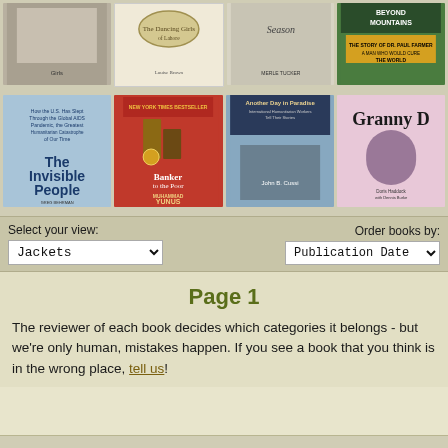[Figure (other): Grid of book covers - top row: four book covers including 'The Dancing Girls of Lahore', 'Season', 'Beyond Mountains']
[Figure (other): Grid of book covers - second row: 'The Invisible People', 'Banker to the Poor' by Muhammad Yunus, 'Another Day in Paradise', 'Granny D']
Select your view:
Jackets
Order books by:
Publication Date
Page 1
The reviewer of each book decides which categories it belongs - but we're only human, mistakes happen. If you see a book that you think is in the wrong place, tell us!